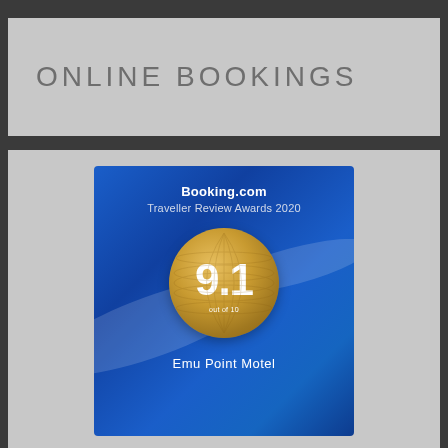ONLINE BOOKINGS
[Figure (other): Booking.com Traveller Review Awards 2020 badge with a gold globe showing score 9.1 out of 10, and 'Emu Point Motel' text below on a blue background]